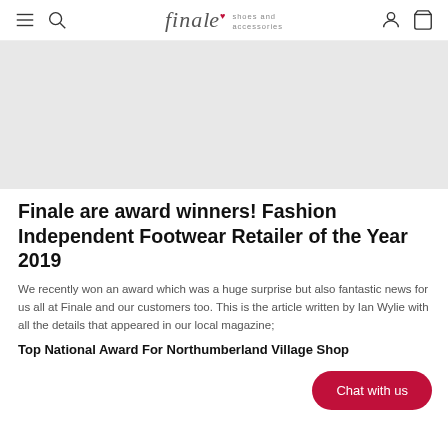finale shoes and accessories
[Figure (photo): Light grey hero image placeholder area for an article about Finale winning Fashion Independent Footwear Retailer of the Year 2019]
Finale are award winners! Fashion Independent Footwear Retailer of the Year 2019
We recently won an award which was a huge surprise but also fantastic news for us all at Finale and our customers too. This is the article written by Ian Wylie with all the details that appeared in our local magazine;
Top National Award For Northumberland Village Shop